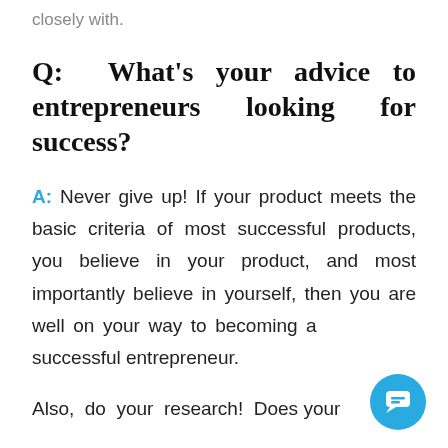closely with.
Q: What's your advice to entrepreneurs looking for success?
A: Never give up! If your product meets the basic criteria of most successful products, you believe in your product, and most importantly believe in yourself, then you are well on your way to becoming a successful entrepreneur.
Also, do your research! Does your